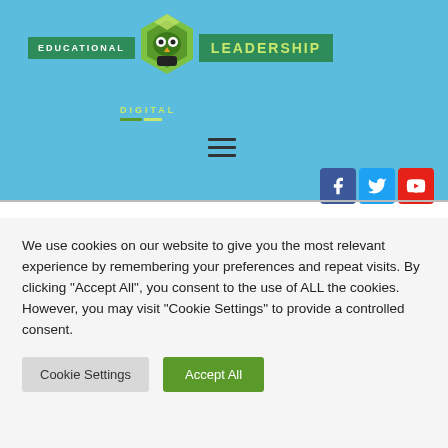[Figure (logo): Educational Leadership Digital logo with green owl/bird icon, green banner with EDUCATIONAL on left and LEADERSHIP on right, DIGITAL text below]
[Figure (screenshot): Website header with light blue background, hamburger menu icon, and social media icons for Facebook, Twitter, and YouTube]
We use cookies on our website to give you the most relevant experience by remembering your preferences and repeat visits. By clicking "Accept All", you consent to the use of ALL the cookies. However, you may visit "Cookie Settings" to provide a controlled consent.